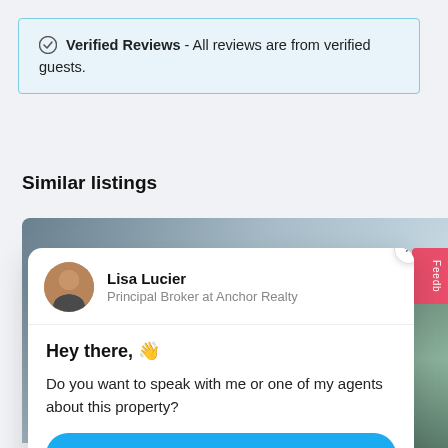✓ Verified Reviews - All reviews are from verified guests.
Similar listings
[Figure (screenshot): Chat popup card with agent Lisa Lucier, Principal Broker at Anchor Realty, showing a greeting message and a 'Yes, let's chat →' button]
Lisa Lucier
Principal Broker at Anchor Realty
Hey there, 👋
Do you want to speak with me or one of my agents about this property?
Yes, let's chat →